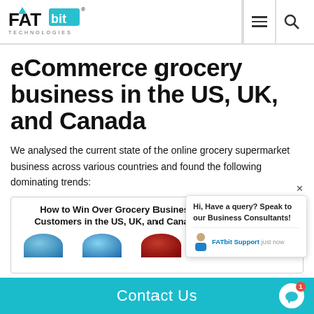FATbit Technologies
eCommerce grocery business in the US, UK, and Canada
We analysed the current state of the online grocery supermarket business across various countries and found the following dominating trends:
[Figure (infographic): Infographic box titled 'How to Win Over Grocery Business Customers in the US, UK, and Canada' with globe illustrations for US, UK, and Canada]
Hi, Have a query? Speak to our Business Consultants!
FATbit Support just now
Contact Us